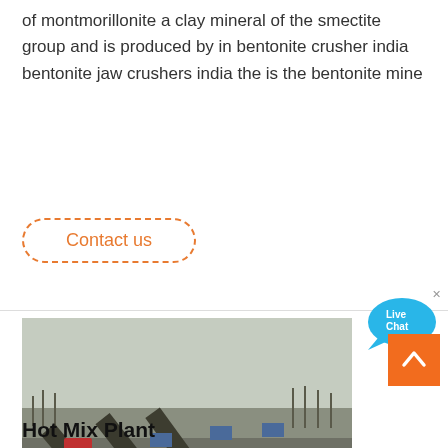of montmorillonite a clay mineral of the smectite group and is produced by in bentonite crusher india bentonite jaw crushers india the is the bentonite mine
Contact us
[Figure (photo): Aerial view of a mining/crushing plant facility with conveyor belts and industrial equipment, trees in background, AMC logo overlay]
[Figure (other): Live Chat bubble icon in blue]
[Figure (other): Back to top orange button with upward arrow]
Hot Mix Plant